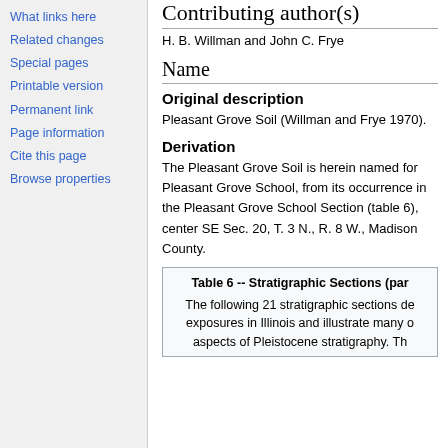Contributing author(s)
H. B. Willman and John C. Frye
Name
Original description
Pleasant Grove Soil (Willman and Frye 1970).
Derivation
The Pleasant Grove Soil is herein named for Pleasant Grove School, from its occurrence in the Pleasant Grove School Section (table 6), center SE Sec. 20, T. 3 N., R. 8 W., Madison County.
Table 6 -- Stratigraphic Sections (par...
The following 21 stratigraphic sections de... exposures in Illinois and illustrate many o... aspects of Pleistocene stratigraphy. Th...